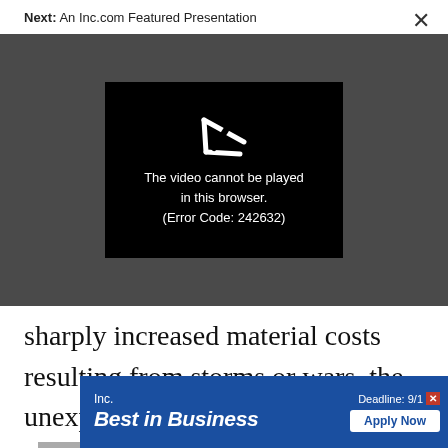Next: An Inc.com Featured Presentation
[Figure (screenshot): Video player showing error message: 'The video cannot be played in this browser. (Error Code: 242632)' on a dark gray background with a broken play icon]
sharply increased material costs resulting from storms or wars, the unexpected demise or b... n incre... d
[Figure (other): Inc. Best in Business advertisement banner with 'Deadline: 9/1' and 'Apply Now' button]